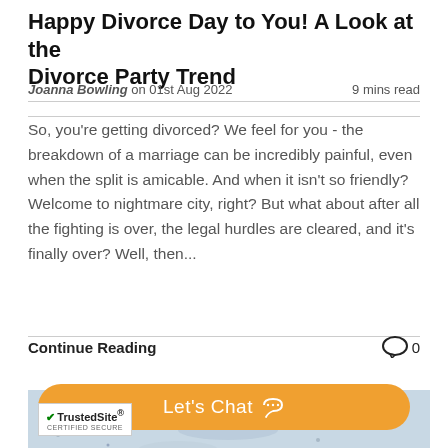Happy Divorce Day to You! A Look at the Divorce Party Trend
Joanna Bowling on 01st Aug 2022   9 mins read
So, you're getting divorced? We feel for you - the breakdown of a marriage can be incredibly painful, even when the split is amicable. And when it isn't so friendly? Welcome to nightmare city, right? But what about after all the fighting is over, the legal hurdles are cleared, and it's finally over? Well, then...
Continue Reading   ◯ 0
[Figure (photo): Light blue/grey speckled background image, likely a textured surface or sky]
Let's Chat 📞